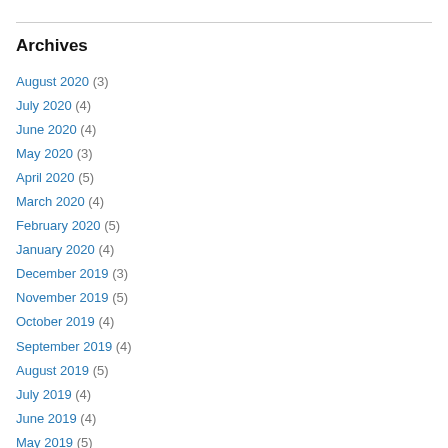Archives
August 2020 (3)
July 2020 (4)
June 2020 (4)
May 2020 (3)
April 2020 (5)
March 2020 (4)
February 2020 (5)
January 2020 (4)
December 2019 (3)
November 2019 (5)
October 2019 (4)
September 2019 (4)
August 2019 (5)
July 2019 (4)
June 2019 (4)
May 2019 (5)